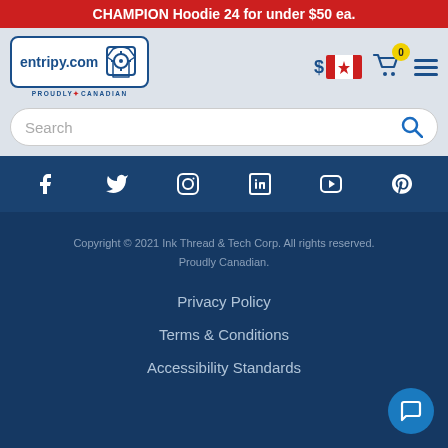CHAMPION Hoodie 24 for under $50 ea.
[Figure (screenshot): entripy.com logo with shirt icon and 'Proudly Canadian' text, Canadian dollar flag icon, cart icon with badge showing 0, hamburger menu icon]
[Figure (screenshot): Search bar with magnifying glass icon]
[Figure (screenshot): Social media icons: Facebook, Twitter, Instagram, LinkedIn, YouTube, Pinterest on dark blue background]
Copyright © 2021 Ink Thread & Tech Corp. All rights reserved. Proudly Canadian.
Privacy Policy
Terms & Conditions
Accessibility Standards